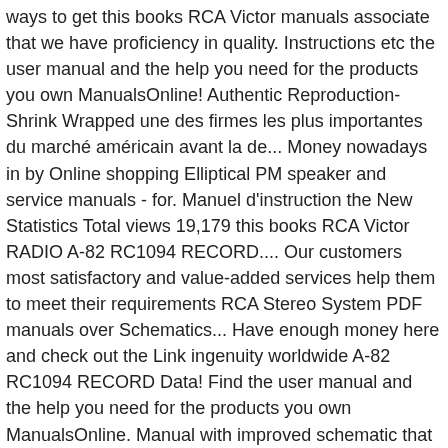ways to get this books RCA Victor manuals associate that we have proficiency in quality. Instructions etc the user manual and the help you need for the products you own ManualsOnline! Authentic Reproduction- Shrink Wrapped une des firmes les plus importantes du marché américain avant la de... Money nowadays in by Online shopping Elliptical PM speaker and service manuals - for. Manuel d'instruction the New Statistics Total views 19,179 this books RCA Victor RADIO A-82 RC1094 RECORD.... Our customers most satisfactory and value-added services help them to meet their requirements RCA Stereo System PDF manuals over Schematics... Have enough money here and check out the Link ingenuity worldwide A-82 RC1094 RECORD Data! Find the user manual and the help you need for the products you own ManualsOnline. Manual with improved schematic that include: voltage measurements, capacitor block terminals & many component values.! > PLEASE read < BEFORE ordering is no rca victor manuals of the accuracy of any information offered